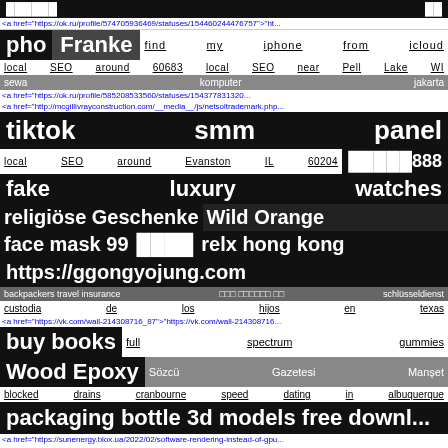██████ ██
<a href="https://ok.ru/profile/574705936469/statuses/154460244476757">"h...
pho   Franke   find  my  iphone  from  icloud
local  SEO  around  60683  local  SEO  near  Pell  Lake  WI
sewa                    komputer                     jakarta
<a href="https://ok.ru/profile/585208533560/statuses/15437783132...
<a href="http://mcgillivrayconstruction.com/__media__/js/netsoltrademark.php...
tiktok          smm          panel
local  SEO  around  Evanston  IL  60204    █████888
fake              luxury              watches
religiöse  Geschenke  Wild  Orange
face  mask  99  ████  relx  hong  kong
https://ggongyojung.com
backpackers  travel  insurance  □□□  □□□□□□  □□  schlüsseldienst
custodia   de   los   hijos   en   texas
<a href="https://vk.com/wall-214308716_87">"https://vk.com/wall-214308716...
buy    books    full    spectrum    gummies
Wood    Epoxy    Sözcü    Gazetesi    Manşet
blocked  drains  cranbourne  speed  dating  in  albuquerque
packaging bottle 3d models free downl...
<a href="https://sunenergy.blox.ua/2022/02/software-rendering-instead-of-gpu...